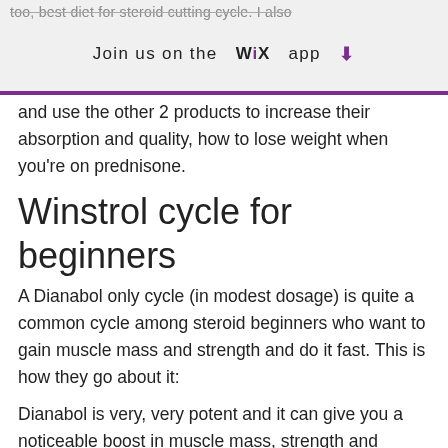too, best diet for steroid cutting cycle. I also
Join us on the WiX app ⬇
and use the other 2 products to increase their absorption and quality, how to lose weight when you're on prednisone.
Winstrol cycle for beginners
A Dianabol only cycle (in modest dosage) is quite a common cycle among steroid beginners who want to gain muscle mass and strength and do it fast. This is how they go about it:
Dianabol is very, very potent and it can give you a noticeable boost in muscle mass, strength and endurance. The more you dose Dianabol, the more you are going to see this, cycle winstrol beginners for. In other words: in order to give you a noticeable increase in muscle mass, strength and endurance, you